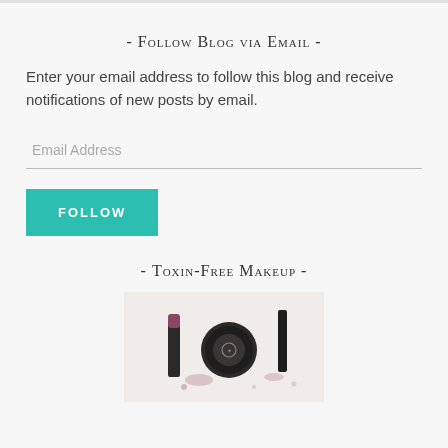- Follow Blog via Email -
Enter your email address to follow this blog and receive notifications of new posts by email.
Email Address
FOLLOW
- Toxin-Free Makeup -
[Figure (photo): Toxin-free makeup products including lipstick, compact powder, and other cosmetics on a white background]